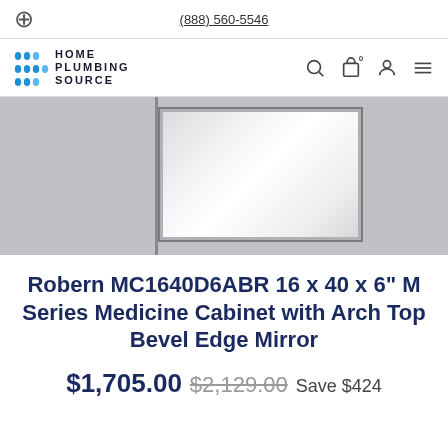(888) 560-5546
[Figure (logo): Home Plumbing Source logo with blue water drops and text]
[Figure (photo): Robern medicine cabinet with mirror, shown against gray background]
Robern MC1640D6ABR 16 x 40 x 6" M Series Medicine Cabinet with Arch Top Bevel Edge Mirror
$1,705.00 $2,129.00 Save $424